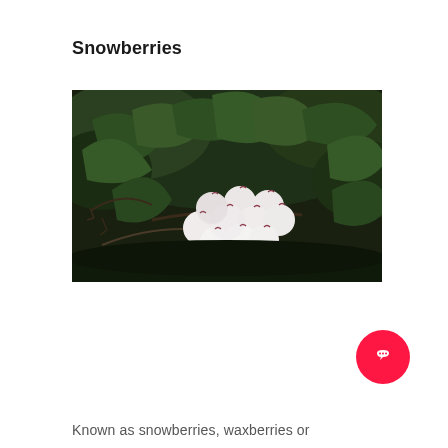Snowberries
[Figure (photo): Close-up photograph of snowberries (white round berries with pink-red tips) clustered on a branch with dark green leaves against a dark background.]
Known as snowberries, waxberries or